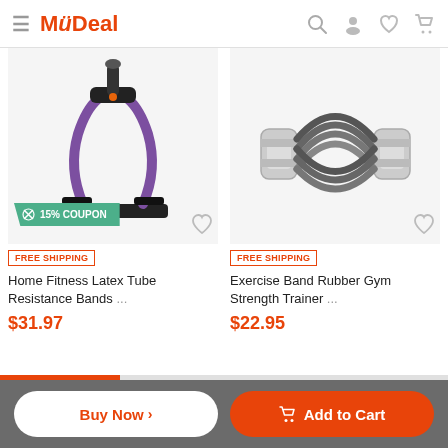MyDeal
[Figure (screenshot): Home Fitness Latex Tube Resistance Bands product image with purple resistance bands and black foot bar. Has a 15% COUPON badge overlay.]
[Figure (screenshot): Exercise Band Rubber Gym Strength Trainer product image showing grey rubber exercise bands with metal handles.]
FREE SHIPPING
Home Fitness Latex Tube Resistance Bands ...
$31.97
FREE SHIPPING
Exercise Band Rubber Gym Strength Trainer ...
$22.95